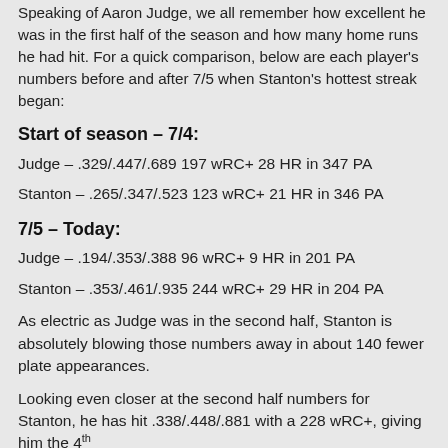Speaking of Aaron Judge, we all remember how excellent he was in the first half of the season and how many home runs he had hit. For a quick comparison, below are each player's numbers before and after 7/5 when Stanton's hottest streak began:
Start of season – 7/4:
Judge – .329/.447/.689 197 wRC+ 28 HR in 347 PA
Stanton – .265/.347/.523 123 wRC+ 21 HR in 346 PA
7/5 – Today:
Judge – .194/.353/.388 96 wRC+ 9 HR in 201 PA
Stanton – .353/.461/.935 244 wRC+ 29 HR in 204 PA
As electric as Judge was in the second half, Stanton is absolutely blowing those numbers away in about 140 fewer plate appearances.
Looking even closer at the second half numbers for Stanton, he has hit .338/.448/.881 with a 228 wRC+, giving him the 4th